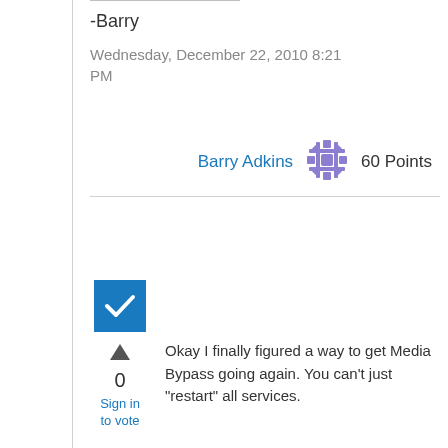-Barry
Wednesday, December 22, 2010 8:21 PM
Barry Adkins   60 Points
[Figure (illustration): User avatar icon with decorative snowflake/star pattern in purple/blue]
[Figure (illustration): Blue checkbox with white checkmark]
0
Sign in to vote
Okay I finally figured a way to get Media Bypass going again.  You can't just "restart" all services.